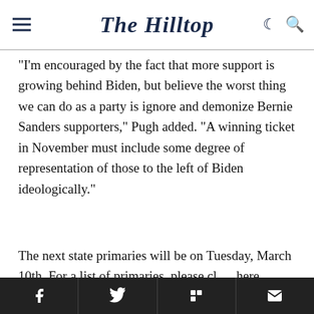The Hilltop
“I’m encouraged by the fact that more support is growing behind Biden, but believe the worst thing we can do as a party is ignore and demonize Bernie Sanders supporters,” Pugh added. “A winning ticket in November must include some degree of representation of those to the left of Biden ideologically.”
The next state primaries will be on Tuesday, March 10th. For a list of primaries, please click here.
Share icons: Facebook, Twitter, Flipboard, Email